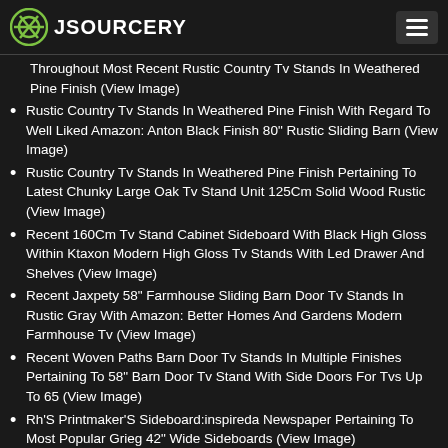JSOURCERY
Throughout Most Recent Rustic Country Tv Stands In Weathered Pine Finish (View Image)
Rustic Country Tv Stands In Weathered Pine Finish With Regard To Well Liked Amazon: Anton Black Finish 80" Rustic Sliding Barn (View Image)
Rustic Country Tv Stands In Weathered Pine Finish Pertaining To Latest Chunky Large Oak Tv Stand Unit 125Cm Solid Wood Rustic (View Image)
Recent 160Cm Tv Stand Cabinet Sideboard With Black High Gloss Within Ktaxon Modern High Gloss Tv Stands With Led Drawer And Shelves (View Image)
Recent Jaxpety 58" Farmhouse Sliding Barn Door Tv Stands In Rustic Gray With Amazon: Better Homes And Gardens Modern Farmhouse Tv (View Image)
Recent Woven Paths Barn Door Tv Stands In Multiple Finishes Pertaining To 58" Barn Door Tv Stand With Side Doors For Tvs Up To 65 (View Image)
Rh'S Printmaker'S Sideboard:inspireda Newspaper Pertaining To Most Popular Grieg 42" Wide Sideboards (View Image)
Recent Grieg 42" Wide Sideboards Within Sideboards & Buffet